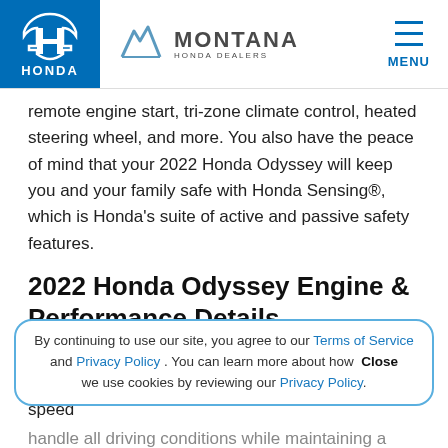[Figure (logo): Honda logo (white H emblem on blue background) and Montana Honda Dealers logo with mountain icon]
remote engine start, tri-zone climate control, heated steering wheel, and more. You also have the peace of mind that your 2022 Honda Odyssey will keep you and your family safe with Honda Sensing®, which is Honda's suite of active and passive safety features.
2022 Honda Odyssey Engine & Performance Details
The 2022 Honda Odyssey comes with a V-6 engine that produces 280-horsepower and features a 10-speed
By continuing to use our site, you agree to our Terms of Service and Privacy Policy . You can learn more about how we use cookies by reviewing our Privacy Policy.
handle all driving conditions while maintaining a smooth